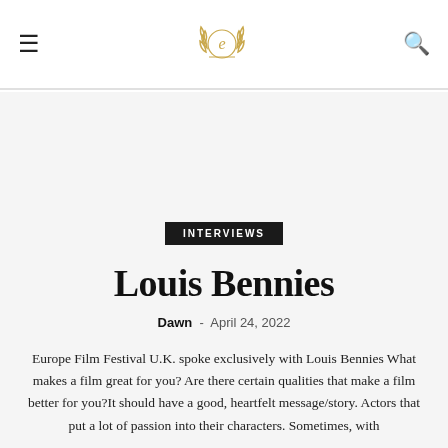☰  [logo: Europe Film Festival e emblem]  🔍
INTERVIEWS
Louis Bennies
Dawn  -  April 24, 2022
Europe Film Festival U.K. spoke exclusively with Louis Bennies What makes a film great for you? Are there certain qualities that make a film better for you?It should have a good, heartfelt message/story. Actors that put a lot of passion into their characters. Sometimes, with